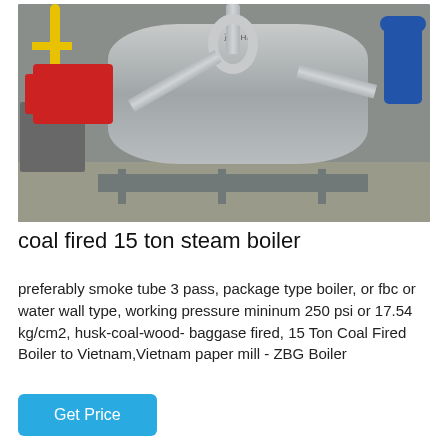[Figure (photo): Industrial coal fired steam boiler in a factory/plant setting. Large cylindrical silver/metallic boiler body with red burner on left, yellow gas pipes on left wall, silver exhaust pipes and connectors, blue pressure tank on right, gray equipment on left, metal frame/stand underneath. Concrete wall background.]
coal fired 15 ton steam boiler
preferably smoke tube 3 pass, package type boiler, or fbc or water wall type, working pressure mininum 250 psi or 17.54 kg/cm2, husk-coal-wood- baggase fired, 15 Ton Coal Fired Boiler to Vietnam,Vietnam paper mill - ZBG Boiler
Get Price